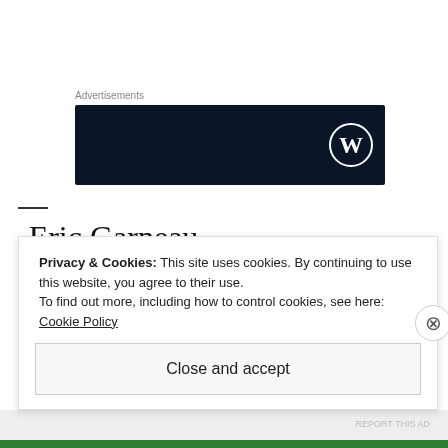Advertisements
[Figure (logo): Dark navy banner ad with WordPress logo (W in circle) on the right side]
-Eric Garneau
writer, editor, comic book retailer, Nerdologues member, alright guy I think?
Privacy & Cookies: This site uses cookies. By continuing to use this website, you agree to their use.
To find out more, including how to control cookies, see here: Cookie Policy
Close and accept